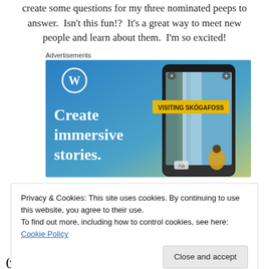create some questions for my three nominated peeps to answer.  Isn't this fun!?  It's a great way to meet new people and learn about them.  I'm so excited!
Advertisements
[Figure (illustration): WordPress advertisement banner showing 'Create immersive stories.' text on blue/green gradient background with a smartphone displaying 'VISITING SKOGAFOSS' travel story.]
Privacy & Cookies: This site uses cookies. By continuing to use this website, you agree to their use.
To find out more, including how to control cookies, see here: Cookie Policy
(yeah I like that). I can't get back there anymore.  It's